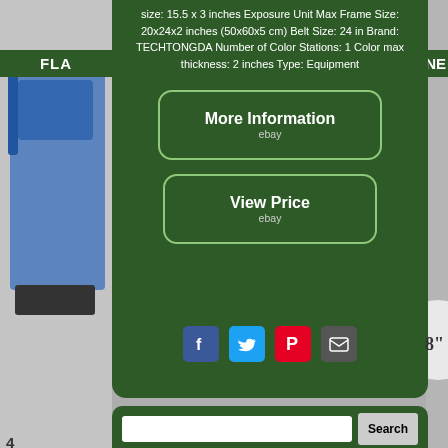size: 15.5 x 3 inches Exposure Unit Max Frame Size: 20x24x2 inches (50x60x5 cm) Belt Size: 24 in Brand: TECHTONGDA Number of Color Stations: 1 Color max thickness: 2 inches Type: Equipment
[Figure (screenshot): More Information button with ebay logo, dark green rounded rectangle with light green border]
[Figure (screenshot): View Price button with ebay logo, dark green rounded rectangle with light green border]
[Figure (infographic): Social sharing icons row: Facebook (blue), Twitter (blue), Pinterest (red), Email (gray)]
[Figure (screenshot): Search bar with Search button]
platen plate print bottle unit light t-shirt curved registration touch